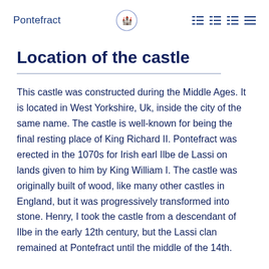Pontefract
Location of the castle
This castle was constructed during the Middle Ages. It is located in West Yorkshire, Uk, inside the city of the same name. The castle is well-known for being the final resting place of King Richard II. Pontefract was erected in the 1070s for Irish earl Ilbe de Lassi on lands given to him by King William I. The castle was originally built of wood, like many other castles in England, but it was progressively transformed into stone. Henry, I took the castle from a descendant of Ilbe in the early 12th century, but the Lassi clan remained at Pontefract until the middle of the 14th.